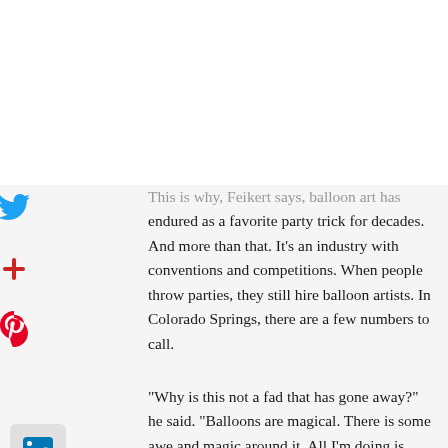This is why, Feikert says, balloon art has endured as a favorite party trick for decades. And more than that. It's an industry with conventions and competitions. When people throw parties, they still hire balloon artists. In Colorado Springs, there are a few numbers to call.
"Why is this not a fad that has gone away?" he said. "Balloons are magical. There is some awe and magic around it. All I'm doing is adding to it."